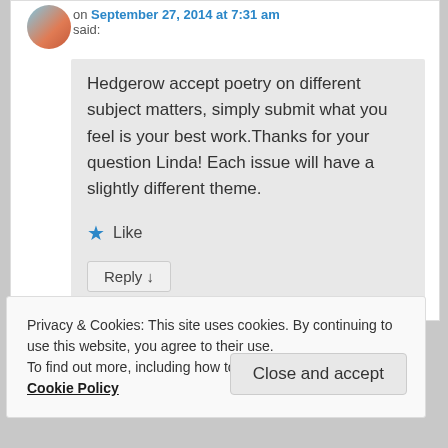on September 27, 2014 at 7:31 am said:
Hedgerow accept poetry on different subject matters, simply submit what you feel is your best work.Thanks for your question Linda! Each issue will have a slightly different theme.
★ Like
Reply ↓
Privacy & Cookies: This site uses cookies. By continuing to use this website, you agree to their use. To find out more, including how to control cookies, see here: Cookie Policy
Close and accept